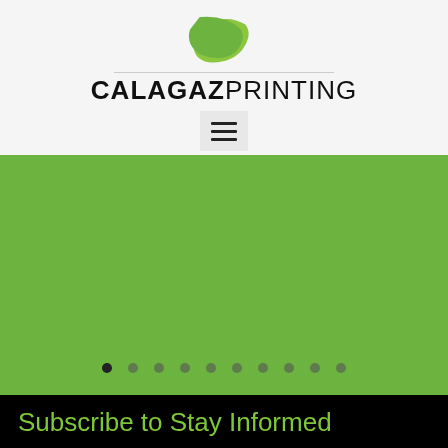[Figure (logo): Calagaz Printing logo with green paper/leaf icon above the text. Bold text reads CALAGAZ in black bold and PRINTING in regular weight, separated by a thin horizontal rule.]
[Figure (screenshot): Green banner/slideshow section with a row of 10 navigation dots at the bottom, first dot is filled/active (black), rest are semi-transparent.]
Subscribe to Stay Informed